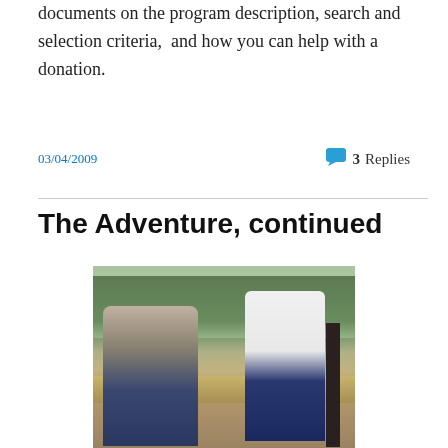documents on the program description, search and selection criteria,  and how you can help with a donation.
03/04/2009
3 Replies
The Adventure, continued
[Figure (photo): Two young men standing/crouching on a wooden deck outdoors. One on the left is crouching and wearing a gray t-shirt with glasses. One on the right is standing in a white t-shirt holding something. Trees and yellow flowers visible in the background.]